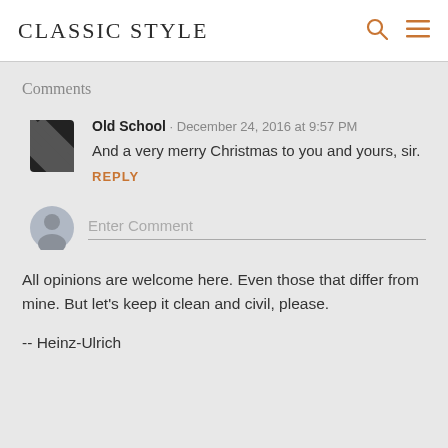CLASSIC STYLE
Comments
Old School · December 24, 2016 at 9:57 PM
And a very merry Christmas to you and yours, sir.
REPLY
Enter Comment
All opinions are welcome here. Even those that differ from mine. But let's keep it clean and civil, please.
-- Heinz-Ulrich